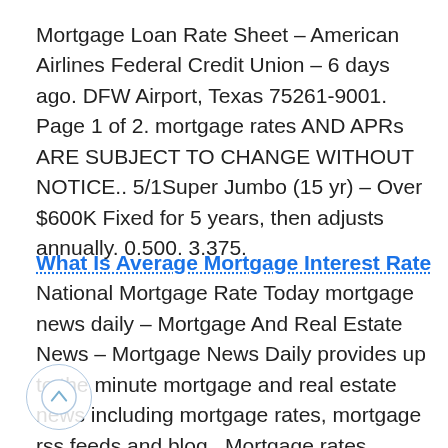Mortgage Loan Rate Sheet – American Airlines Federal Credit Union – 6 days ago. DFW Airport, Texas 75261-9001. Page 1 of 2. mortgage rates AND APRs ARE SUBJECT TO CHANGE WITHOUT NOTICE.. 5/1Super Jumbo (15 yr) – Over $600K Fixed for 5 years, then adjusts annually. 0.500. 3.375.
What Is Average Mortgage Interest Rate National Mortgage Rate Today mortgage news daily – Mortgage And Real Estate News – Mortgage News Daily provides up to the minute mortgage and real estate news including mortgage rates, mortgage rss feeds and blog.. Mortgage rates remained at recent lows today, as underlying.Average Mortgage Rates in the U.S. | GOBankingRates – mortgage interest rates today for five-year ARMs, on a national basis, are 3.12 percent, above